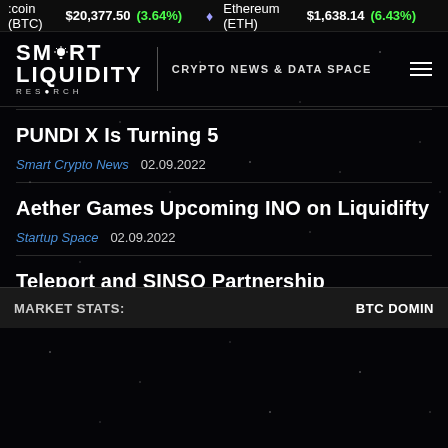coin (BTC) $20,377.50 (3.64%) Ethereum (ETH) $1,638.14 (6.43%)
[Figure (logo): Smart Liquidity Research logo with lightbulb icon, tagline CRYPTO NEWS & DATA SPACE, hamburger menu icon]
PUNDI X Is Turning 5
Smart Crypto News   02.09.2022
Aether Games Upcoming INO on Liquidifty
Startup Space   02.09.2022
Teleport and SINSO Partnership
Digital Diary   02.09.2022
MARKET STATS:   BTC DOMIN